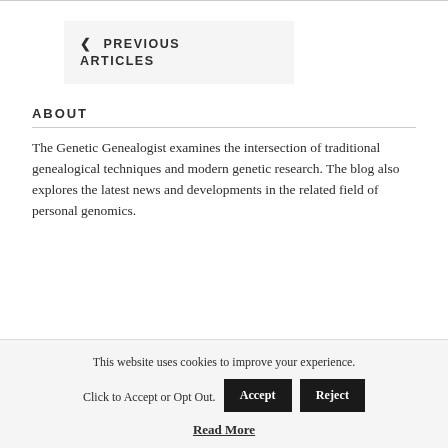< PREVIOUS ARTICLES
ABOUT
The Genetic Genealogist examines the intersection of traditional genealogical techniques and modern genetic research. The blog also explores the latest news and developments in the related field of personal genomics.
This website uses cookies to improve your experience.
Click to Accept or Opt Out.
Read More